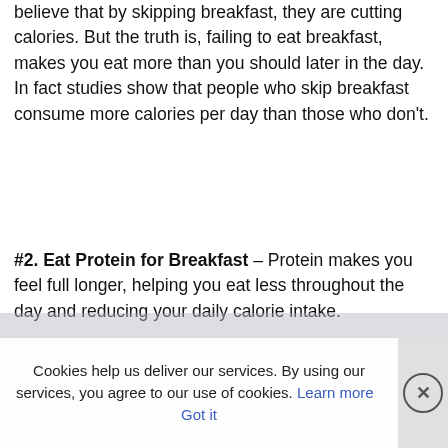believe that by skipping breakfast, they are cutting calories. But the truth is, failing to eat breakfast, makes you eat more than you should later in the day. In fact studies show that people who skip breakfast consume more calories per day than those who don't.
#2. Eat Protein for Breakfast – Protein makes you feel full longer, helping you eat less throughout the day and reducing your daily calorie intake.
Cookies help us deliver our services. By using our services, you agree to our use of cookies. Learn more Got it